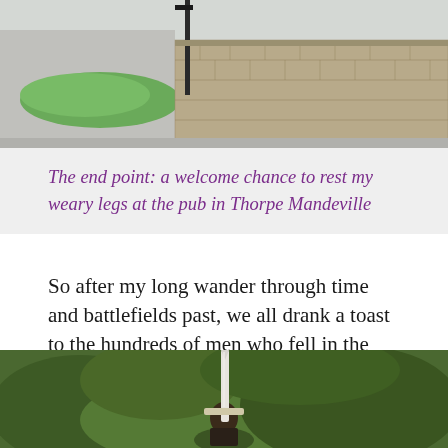[Figure (photo): Outdoor scene showing a road on the left, green grass, and a stone wall on the right with a street pole/sign in the middle background]
The end point: a welcome chance to rest my weary legs at the pub in Thorpe Mandeville
So after my long wander through time and battlefields past, we all drank a toast to the hundreds of men who fell in the nearby fields during this most savage of dynastic ruptures, on this day in 1469.
[Figure (photo): Person holding a sword against a backdrop of green foliage/trees]